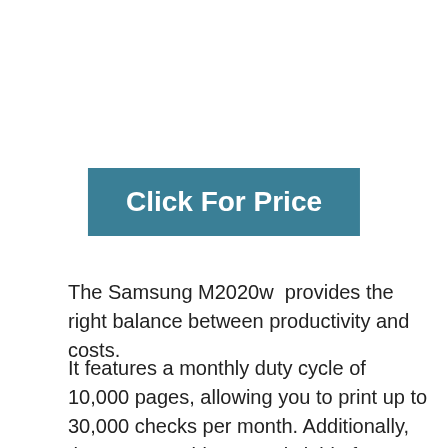[Figure (other): Teal/blue-green button with white bold text reading 'Click For Price']
The Samsung M2020w  provides the right balance between productivity and costs.
It features a monthly duty cycle of 10,000 pages, allowing you to print up to 30,000 checks per month. Additionally, the toner provides a total yield of 1000 pages, or about 3000 checks if each